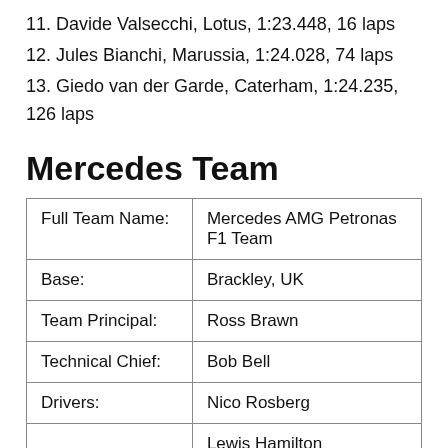11. Davide Valsecchi, Lotus, 1:23.448, 16 laps
12. Jules Bianchi, Marussia, 1:24.028, 74 laps
13. Giedo van der Garde, Caterham, 1:24.235, 126 laps
Mercedes Team
|  |  |
| --- | --- |
| Full Team Name: | Mercedes AMG Petronas F1 Team |
| Base: | Brackley, UK |
| Team Principal: | Ross Brawn |
| Technical Chief: | Bob Bell |
| Drivers: | Nico Rosberg |
|  | Lewis Hamilton |
| Chassis: | F1 W04 |